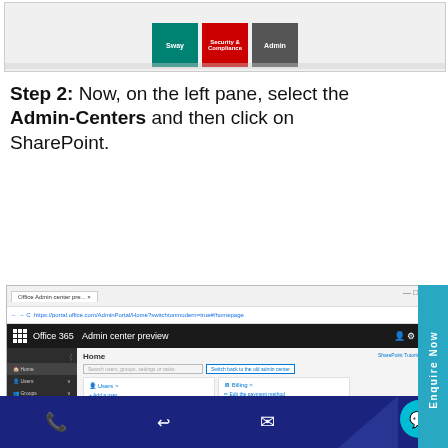[Figure (screenshot): Top portion of Office 365 Admin portal showing Sway, Security & Compliance, and Admin tiles]
Step 2: Now, on the left pane, select the Admin-Centers and then click on SharePoint.
[Figure (screenshot): Office 365 Admin center preview browser screenshot showing left navigation with Home, Users, Groups, Resources, Billing, Support, Settings and main content area showing Home page with Users and Billing cards]